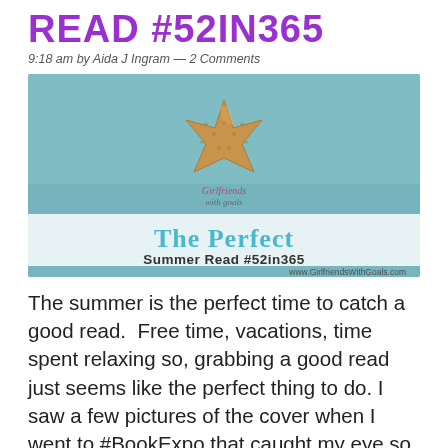READ #52IN365
9:18 am by Aida J Ingram — 2 Comments
[Figure (illustration): Blog post header image showing a starfish on a teal/aqua textured background with text 'The Perfect Summer Read #52in365' and watermark 'www.GirlfriendsWithGoals.com']
The summer is the perfect time to catch a good read.  Free time, vacations, time spent relaxing so, grabbing a good read just seems like the perfect thing to do. I saw a few pictures of the cover when I went to #BookExpo that caught my eye so when I had the opportunity I picked